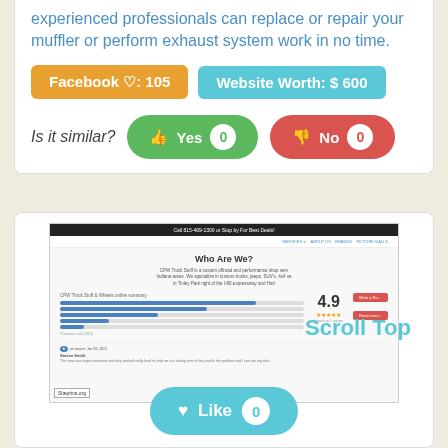experienced professionals can replace or repair your muffler or perform exhaust system work in no time.
Facebook ♡: 105
Website Worth: $ 600
Is it similar?
Yes 0
No 0
[Figure (screenshot): Screenshot of a website showing 'Who Are We?' section with review summary showing 4.9 rating and a 'Scroll Top' button. Siteprice.org watermark visible.]
Scroll Top
Like 0